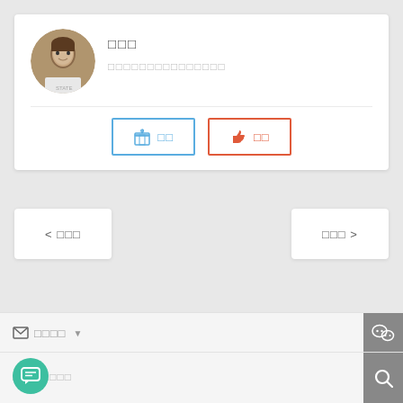[Figure (photo): Circular avatar photo of a young person in a white t-shirt]
□□□
□□□□□□□□□□□□□□□
🎁 □□
👍 □□
< □□□
□□□ >
✉ □□□□ ▼
[Figure (logo): WeChat logo icon on gray background]
□□□□□□□□
[Figure (illustration): Search icon on gray background]
[Figure (illustration): Chat/message floating action button in teal]